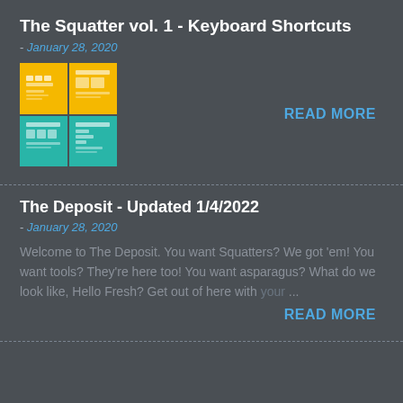The Squatter vol. 1 - Keyboard Shortcuts
- January 28, 2020
[Figure (infographic): Thumbnail image of a keyboard shortcuts infographic with yellow/teal quadrant layout]
READ MORE
The Deposit - Updated 1/4/2022
- January 28, 2020
Welcome to The Deposit. You want Squatters? We got 'em! You want tools? They're here too! You want asparagus? What do we look like, Hello Fresh? Get out of here with your ...
READ MORE